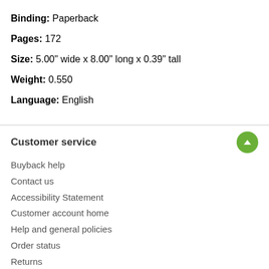Binding: Paperback
Pages: 172
Size: 5.00" wide x 8.00" long x 0.39" tall
Weight: 0.550
Language: English
Customer service
Buyback help
Contact us
Accessibility Statement
Customer account home
Help and general policies
Order status
Returns
Textbooks & more